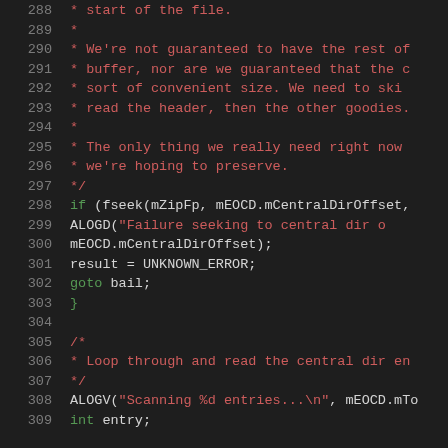Source code viewer showing lines 288-309 of a C/C++ file with syntax highlighting. Comments in red, keywords in green, strings in orange, identifiers in white/teal.